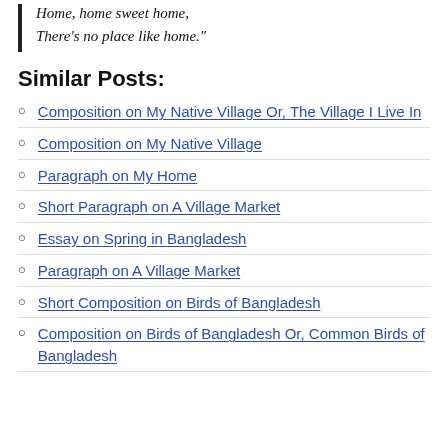Home, home sweet home,
There's no place like home."
Similar Posts:
Composition on My Native Village Or, The Village I Live In
Composition on My Native Village
Paragraph on My Home
Short Paragraph on A Village Market
Essay on Spring in Bangladesh
Paragraph on A Village Market
Short Composition on Birds of Bangladesh
Composition on Birds of Bangladesh Or, Common Birds of Bangladesh